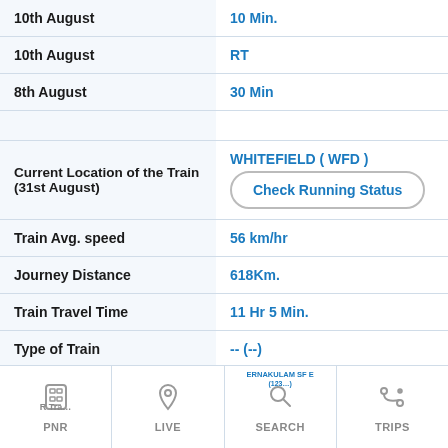| Field | Value |
| --- | --- |
| 10th August (clipped) | 10 Min. (clipped) |
| 10th August | RT |
| 8th August | 30 Min |
|  |  |
| Current Location of the Train (31st August) | WHITEFIELD ( WFD ) / Check Running Status |
| Train Avg. speed | 56 km/hr |
| Journey Distance | 618Km. |
| Train Travel Time | 11 Hr 5 Min. |
| Type of Train | -- (--) |
| Train Running schedule | 2 day in Week (Mon, Wed) |
[Figure (screenshot): Mobile app bottom navigation bar with four icons: PNR (train icon), LIVE (location pin icon), SEARCH (magnifying glass icon), TRIPS (route/map icon)]